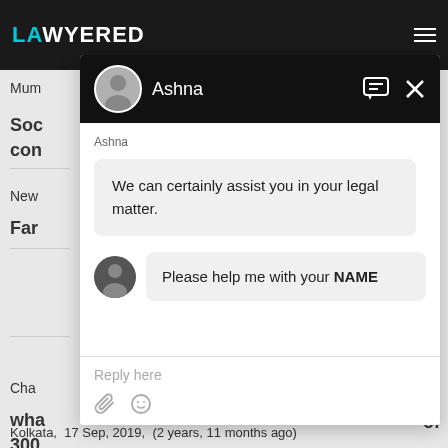[Figure (screenshot): Screenshot of a legal services website (Lawyered) with a chat popup overlay. The chat is with 'Ashna' and contains messages: 'We can certainly assist you in your legal matter.' and 'Please help me with your NAME'. The input area shows 'Reply here'. Background shows partial website text: 'Mum', 'Soc con', 'New', 'Far', 'Cha', 'wha 300'. Bottom footer: 'Kolkata, 17 Sep, 2019, (2 years, 11 months ago)']
Kolkata,  17 Sep, 2019,  (2 years, 11 months ago)